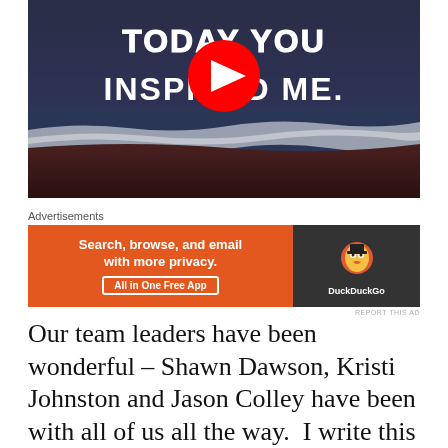[Figure (screenshot): YouTube video thumbnail showing a beach scene with text 'TODAY YOU INSPIRED ME.' written in white chalk-style letters on dark background, with a red YouTube play button overlay in the center.]
Advertisements
[Figure (screenshot): DuckDuckGo advertisement banner. Left side orange background with text 'Search, browse, and email with more privacy. All in One Free App'. Right side dark background with DuckDuckGo duck logo and 'DuckDuckGo' text.]
REPORT THIS AD
Our team leaders have been wonderful – Shawn Dawson, Kristi Johnston and Jason Colley have been with all of us all the way.  I write this so that all readers will be aware